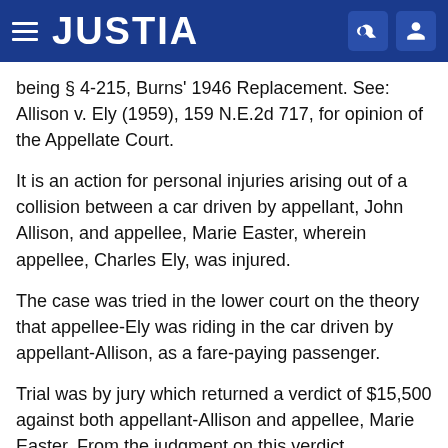JUSTIA
being § 4-215, Burns' 1946 Replacement. See: Allison v. Ely (1959), 159 N.E.2d 717, for opinion of the Appellate Court.
It is an action for personal injuries arising out of a collision between a car driven by appellant, John Allison, and appellee, Marie Easter, wherein appellee, Charles Ely, was injured.
The case was tried in the lower court on the theory that appellee-Ely was riding in the car driven by appellant-Allison, as a fare-paying passenger.
Trial was by jury which returned a verdict of $15,500 against both appellant-Allison and appellee, Marie Easter. From the judgment on this verdict defendant-appellant, John Allison, appealed.